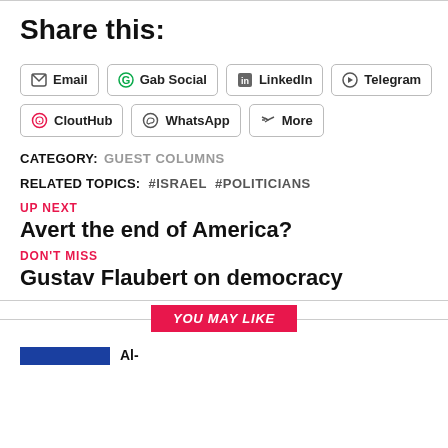Share this:
Email
Gab Social
LinkedIn
Telegram
CloutHub
WhatsApp
More
CATEGORY: GUEST COLUMNS
RELATED TOPICS: #ISRAEL #POLITICIANS
UP NEXT
Avert the end of America?
DON'T MISS
Gustav Flaubert on democracy
YOU MAY LIKE